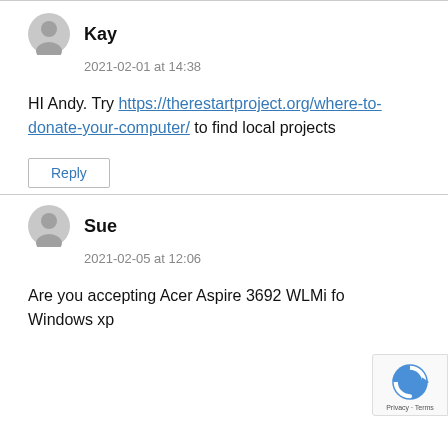Kay
2021-02-01 at 14:38
HI Andy. Try https://therestartproject.org/where-to-donate-your-computer/ to find local projects
Reply
Sue
2021-02-05 at 12:06
Are you accepting Acer Aspire 3692 WLMi for Windows xp